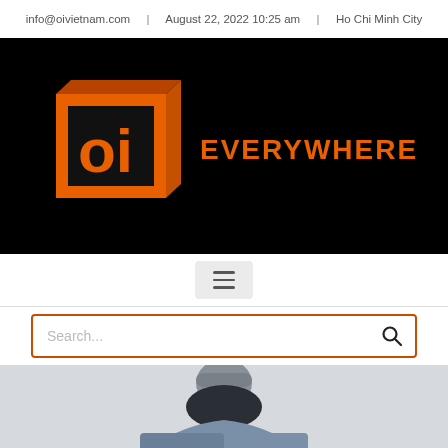info@oivietnam.com | August 22, 2022 10:25 am | Ho Chi Minh City
[Figure (logo): OI Vietnam logo — orange 3D box with 'oi' letters, followed by text 'EVERYWHERE YOU GO' in orange on black background]
[Figure (infographic): Hamburger menu icon (three horizontal lines) on light grey background]
[Figure (infographic): Search bar with orange border, placeholder text 'Search...' and a search icon on the right]
[Figure (photo): Person wearing a grey beanie hat and denim jacket with hood, shot from behind or side in a cold/winter setting with a light sky background]